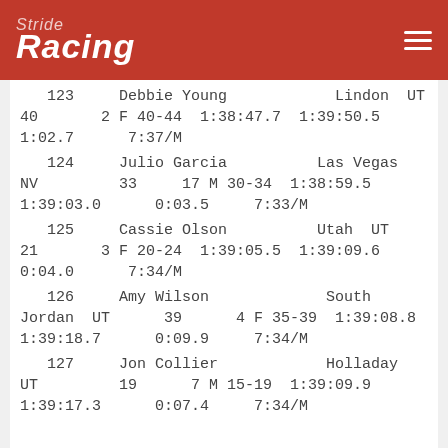Stride Racing
| # | Name | City | State | Age | Place/Division | Division | Gun Time | Chip Time | Pace |
| --- | --- | --- | --- | --- | --- | --- | --- | --- | --- |
| 123 | Debbie Young | Lindon | UT | 40 | 2 | F 40-44 | 1:38:47.7 | 1:39:50.5 | 1:02.7 | 7:37/M |
| 124 | Julio Garcia | Las Vegas | NV | 33 | 17 | M 30-34 | 1:38:59.5 | 1:39:03.0 | 0:03.5 | 7:33/M |
| 125 | Cassie Olson | Utah | UT | 21 | 3 | F 20-24 | 1:39:05.5 | 1:39:09.6 | 0:04.0 | 7:34/M |
| 126 | Amy Wilson | South Jordan | UT | 39 | 4 | F 35-39 | 1:39:08.8 | 1:39:18.7 | 0:09.9 | 7:34/M |
| 127 | Jon Collier | Holladay | UT | 19 | 7 | M 15-19 | 1:39:09.9 | 1:39:17.3 | 0:07.4 | 7:34/M |